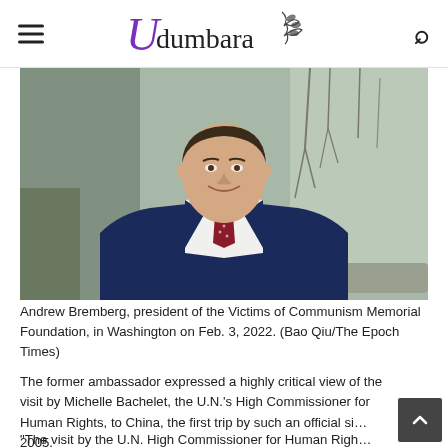Udumbara
[Figure (photo): Andrew Bremberg, president of the Victims of Communism Memorial Foundation, photographed in Washington on Feb. 3, 2022. Man in navy suit with red patterned tie, smiling, in front of a window with bare winter trees visible outside.]
Andrew Bremberg, president of the Victims of Communism Memorial Foundation, in Washington on Feb. 3, 2022. (Bao Qiu/The Epoch Times)
The former ambassador expressed a highly critical view of the visit by Michelle Bachelet, the U.N.'s High Commissioner for Human Rights, to China, the first trip by such an official since 2005.